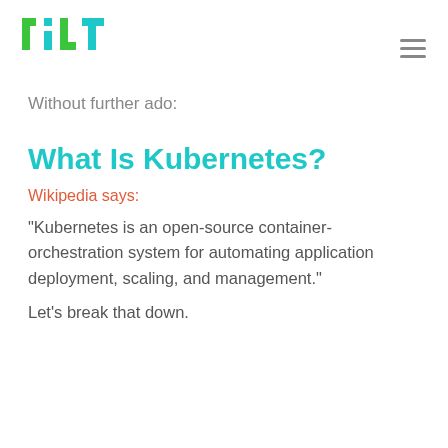TILT
Without further ado:
What Is Kubernetes?
Wikipedia says:
“Kubernetes is an open-source container-orchestration system for automating application deployment, scaling, and management.”
Let’s break that down.